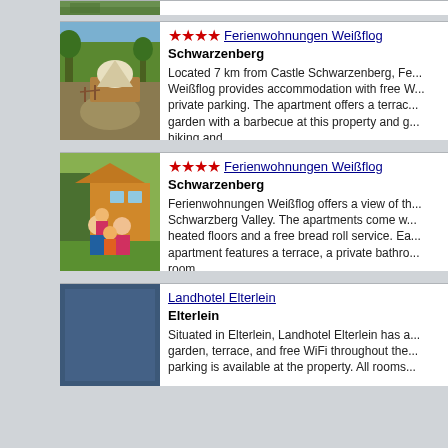[Figure (photo): Partial top of a property photo showing green garden scenery]
[Figure (photo): Outdoor garden with wooden deck, tent/yurt structure and stone path at Ferienwohnungen Weißflog]
★★★★ Ferienwohnungen Weißflog
Schwarzenberg
Located 7 km from Castle Schwarzenberg, Ferienwohnungen Weißflog provides accommodation with free Wi-Fi and private parking. The apartment offers a terrace, a garden with a barbecue at this property and guests can go hiking and...
[Figure (photo): Happy family (parents and children) smiling outdoors in front of a colorful house]
★★★★ Ferienwohnungen Weißflog
Schwarzenberg
Ferienwohnungen Weißflog offers a view of the Schwarzberg Valley. The apartments come with heated floors and a free bread roll service. Each apartment features a terrace, a private bathroom, room...
[Figure (photo): Blue/dark placeholder image for Landhotel Elterlein]
Landhotel Elterlein
Elterlein
Situated in Elterlein, Landhotel Elterlein has a garden, terrace, and free WiFi throughout the property. Free parking is available at the property. All rooms...